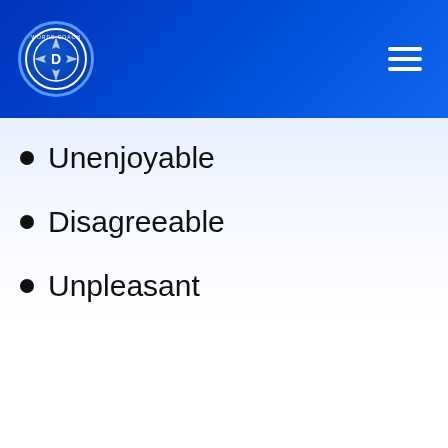Words Coach
Unenjoyable
Disagreeable
Unpleasant